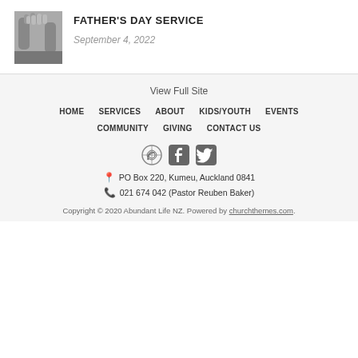[Figure (photo): Black and white photo of bare feet, thumbnail image for Father's Day Service event]
FATHER'S DAY SERVICE
September 4, 2022
View Full Site
HOME
SERVICES
ABOUT
KIDS/YOUTH
EVENTS
COMMUNITY
GIVING
CONTACT US
[Figure (other): RSS feed icon]
[Figure (other): Facebook icon]
[Figure (other): Twitter icon]
PO Box 220, Kumeu, Auckland 0841
021 674 042 (Pastor Reuben Baker)
Copyright © 2020 Abundant Life NZ. Powered by churchthemes.com.